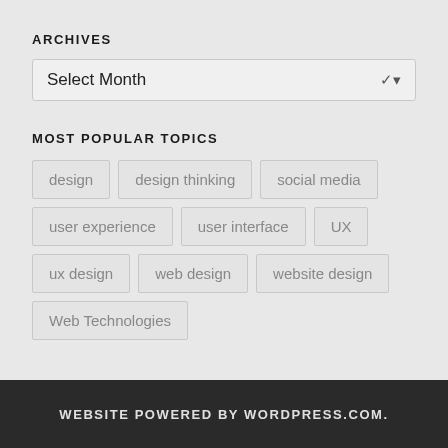ARCHIVES
Select Month
MOST POPULAR TOPICS
design
design thinking
social media
user experience
user interface
UX
ux design
web design
website design
Web Technologies
WEBSITE POWERED BY WORDPRESS.COM.